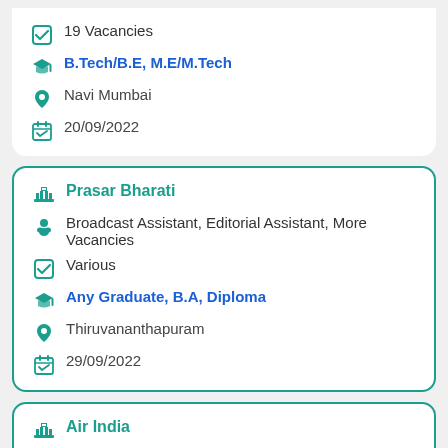19 Vacancies
B.Tech/B.E, M.E/M.Tech
Navi Mumbai
20/09/2022
Prasar Bharati
Broadcast Assistant, Editorial Assistant, More Vacancies
Various
Any Graduate, B.A, Diploma
Thiruvananthapuram
29/09/2022
Air India